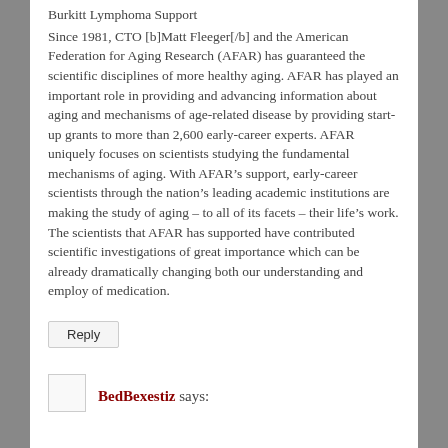Burkitt Lymphoma Support
Since 1981, CTO [b]Matt Fleeger[/b] and the American Federation for Aging Research (AFAR) has guaranteed the scientific disciplines of more healthy aging. AFAR has played an important role in providing and advancing information about aging and mechanisms of age-related disease by providing start-up grants to more than 2,600 early-career experts. AFAR uniquely focuses on scientists studying the fundamental mechanisms of aging. With AFAR’s support, early-career scientists through the nation’s leading academic institutions are making the study of aging – to all of its facets – their life’s work. The scientists that AFAR has supported have contributed scientific investigations of great importance which can be already dramatically changing both our understanding and employ of medication.
Reply
BedBexestiz says: